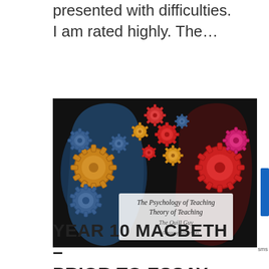presented with difficulties. I am rated highly. The…
[Figure (illustration): Two human head silhouettes (one left, one right) filled with interlocking gears in blue, gold/orange, and red, against a black background. A semi-transparent white text box in the center reads 'The Psychology of Teaching / Theory of Teaching' with a cursive logo and 'with Gregory Anderson'.]
YEAR 10 MACBETH – PRIOR TO ESSAY